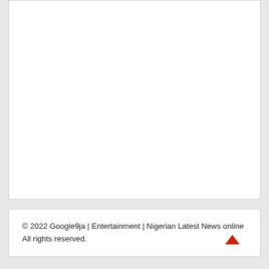© 2022 Google9ja | Entertainment | Nigerian Latest News online
All rights reserved.